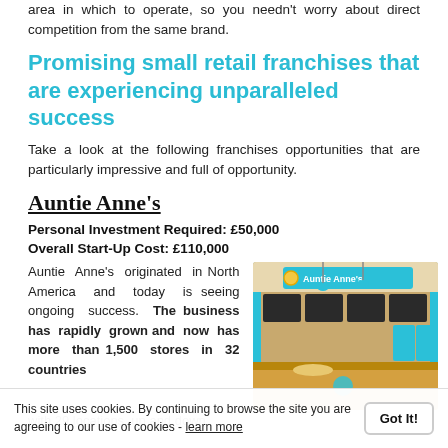area in which to operate, so you needn't worry about direct competition from the same brand.
Promising small retail franchises that are experiencing unparalleled success
Take a look at the following franchises opportunities that are particularly impressive and full of opportunity.
Auntie Anne's
Personal Investment Required: £50,000
Overall Start-Up Cost: £110,000
Auntie Anne's originated in North America and today is seeing ongoing success. The business has rapidly grown and now has more than 1,500 stores in 32 countries with 29 locations up and down the UK.
[Figure (photo): Interior of an Auntie Anne's store showing the counter, menu boards, teal and wood decor, and the Auntie Anne's logo sign.]
with 29 locations, up and down the UK.
This site uses cookies. By continuing to browse the site you are agreeing to our use of cookies - learn more